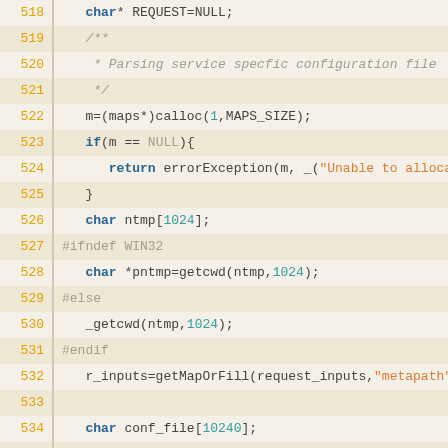Source code viewer lines 518–544, C code with syntax highlighting